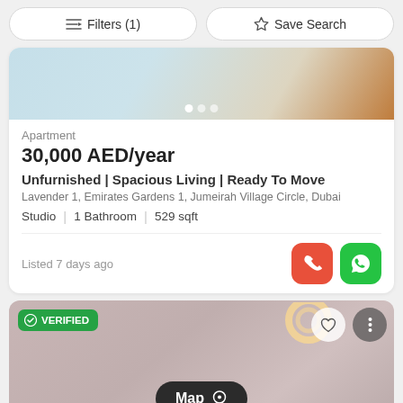Filters (1)
Save Search
[Figure (photo): Interior photo of an apartment with tiled floor and orange accent corner]
Apartment
30,000 AED/year
Unfurnished | Spacious Living | Ready To Move
Lavender 1, Emirates Gardens 1, Jumeirah Village Circle, Dubai
Studio | 1 Bathroom | 529 sqft
Listed 7 days ago
[Figure (photo): Interior photo of an apartment with decorative ceiling lamps, with a VERIFIED badge overlay, heart and more icons, and a Map button]